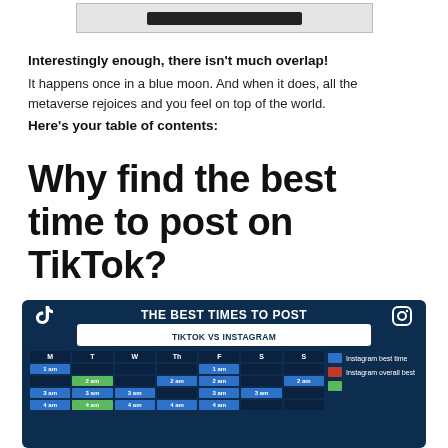[Figure (other): Partial screenshot of a dark button/bar element at the top of the page]
Interestingly enough, there isn't much overlap!
It happens once in a blue moon. And when it does, all the metaverse rejoices and you feel on top of the world.
Here's your table of contents:
Why find the best time to post on TikTok?
[Figure (infographic): Infographic titled 'The Best Times to Post – TikTok vs Instagram' on a dark navy background. Shows a weekly grid (M T W Th F S S) with time slots (1am, 2am, 3am, 4am) highlighted in blue (Instagram best time) and green (TikTok best time). Legend shows Instagram best time (blue), Instagram overall best (red), and TikTok indicators (green).]